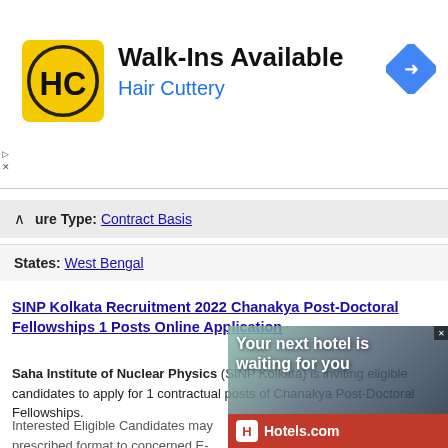[Figure (logo): Hair Cuttery advertisement banner with HC logo, 'Walk-Ins Available' title, 'Hair Cuttery' subtitle in blue, and a blue navigation diamond icon]
ure Type: Contract Basis
States: West Bengal
SINP Kolkata Recruitment 2022 Chanakya Post-Doctoral Fellowships 1 Posts Online Application
Saha Institute of Nuclear Physics (SINP Kolkata) is inviting eligible candidates to apply for 1 contractual posts of Chanakya Post-Doctoral Fellowships.
Interested Eligible Candidates may prescribed format to concerned E-m All the relevant documents must be form, as proof of suitability for the p formed properly, containing name o
[Figure (screenshot): Hotels.com advertisement with text 'Your next hotel is waiting for you' and Hotels.com logo on red background]